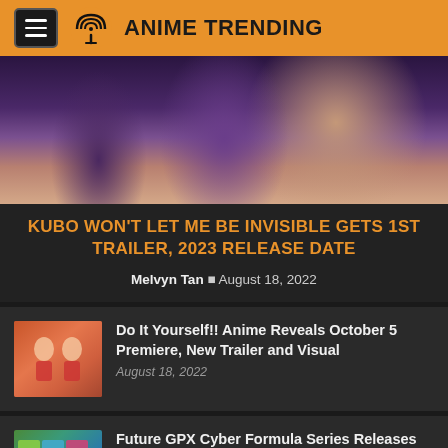ANIME TRENDING
[Figure (illustration): Anime screenshot showing two characters with purple hair in close proximity]
KUBO WON'T LET ME BE INVISIBLE GETS 1ST TRAILER, 2023 RELEASE DATE
Melvyn Tan · August 18, 2022
[Figure (illustration): Thumbnail for Do It Yourself!! anime article]
Do It Yourself!! Anime Reveals October 5 Premiere, New Trailer and Visual
August 18, 2022
[Figure (illustration): Thumbnail for Future GPX Cyber Formula article]
Future GPX Cyber Formula Series Releases Character Songs & Drama CD Theme Song Compilation